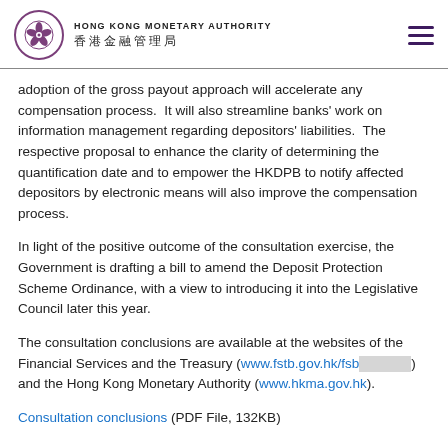HONG KONG MONETARY AUTHORITY 香港金融管理局
adoption of the gross payout approach will accelerate any compensation process.  It will also streamline banks' work on information management regarding depositors' liabilities.  The respective proposal to enhance the clarity of determining the quantification date and to empower the HKDPB to notify affected depositors by electronic means will also improve the compensation process.
In light of the positive outcome of the consultation exercise, the Government is drafting a bill to amend the Deposit Protection Scheme Ordinance, with a view to introducing it into the Legislative Council later this year.
The consultation conclusions are available at the websites of the Financial Services and the Treasury (www.fstb.gov.hk/fsb) and the Hong Kong Monetary Authority (www.hkma.gov.hk).
Consultation conclusions (PDF File, 132KB)